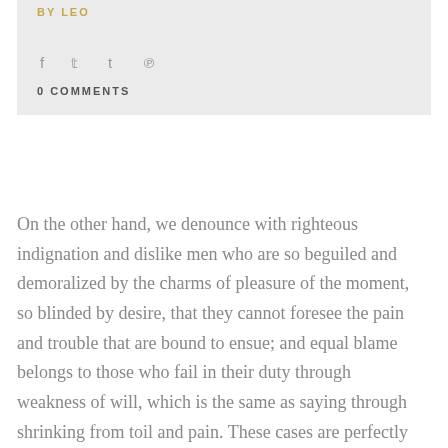BY LEO
f  t  t  p
0 COMMENTS
On the other hand, we denounce with righteous indignation and dislike men who are so beguiled and demoralized by the charms of pleasure of the moment, so blinded by desire, that they cannot foresee the pain and trouble that are bound to ensue; and equal blame belongs to those who fail in their duty through weakness of will, which is the same as saying through shrinking from toil and pain. These cases are perfectly simple and easy to